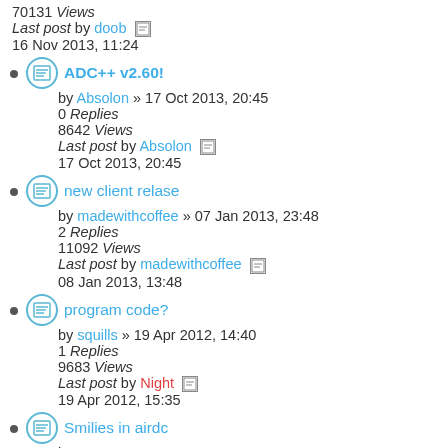70131 Views
Last post by doob
16 Nov 2013, 11:24
ADC++ v2.60!
by Absolon » 17 Oct 2013, 20:45
0 Replies
8642 Views
Last post by Absolon
17 Oct 2013, 20:45
new client relase
by madewithcoffee » 07 Jan 2013, 23:48
2 Replies
11092 Views
Last post by madewithcoffee
08 Jan 2013, 13:48
program code?
by squills » 19 Apr 2012, 14:40
1 Replies
9683 Views
Last post by Night
19 Apr 2012, 15:35
Smilies in airdc
by ICU2M8 » 08 Apr 2009, 23:31
1 Replies
10244 Views
Last post by Zoolut1oN
03 Apr 2012, 14:50